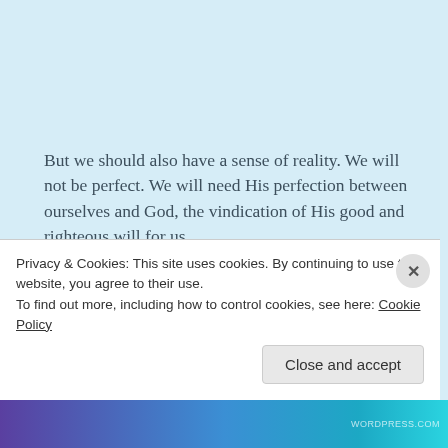But we should also have a sense of reality. We will not be perfect. We will need His perfection between ourselves and God, the vindication of His good and righteous will for us.
It is not what we do that saves us, but what He has done.
It is not by what He has done that we will be judged, but
Privacy & Cookies: This site uses cookies. By continuing to use this website, you agree to their use.
To find out more, including how to control cookies, see here: Cookie Policy
Close and accept